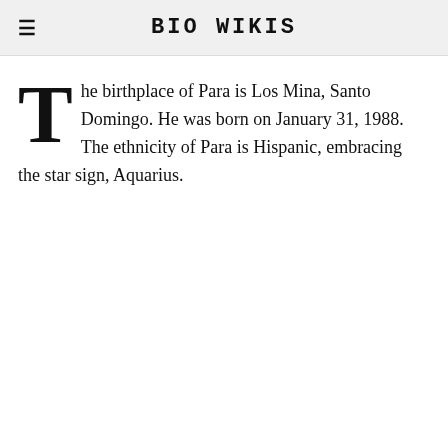BIO WIKIS
The birthplace of Para is Los Mina, Santo Domingo. He was born on January 31, 1988. The ethnicity of Para is Hispanic, embracing the star sign, Aquarius.